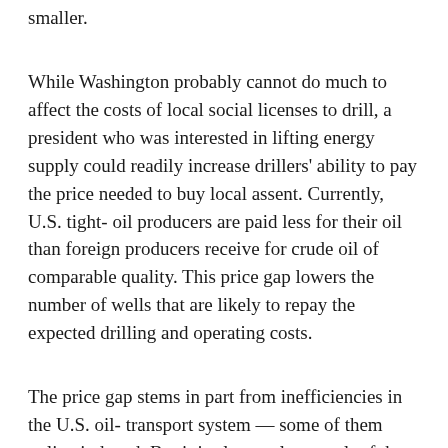smaller.
While Washington probably cannot do much to affect the costs of local social licenses to drill, a president who was interested in lifting energy supply could readily increase drillers' ability to pay the price needed to buy local assent. Currently, U.S. tight-oil producers are paid less for their oil than foreign producers receive for crude oil of comparable quality. This price gap lowers the number of wells that are likely to repay the expected drilling and operating costs.
The price gap stems in part from inefficiencies in the U.S. oil-transport system — some of them policy induced. But it is also partly a result of the U.S. ban on most crude-oil exports. Ending that ban would open a path by which U.S. tight oil might fetch higher prices from foreign refineries than they now receive at home. Domestic crude-oil output would likely rise,